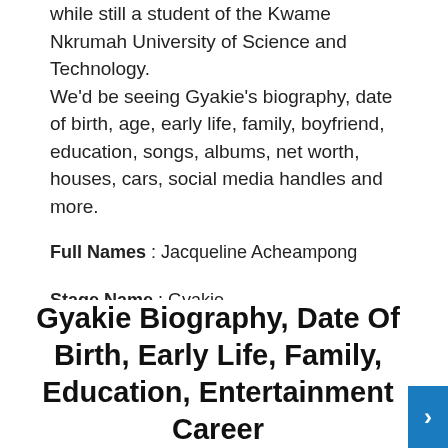while still a student of the Kwame Nkrumah University of Science and Technology. We'd be seeing Gyakie's biography, date of birth, age, early life, family, boyfriend, education, songs, albums, net worth, houses, cars, social media handles and more.
Full Names : Jacqueline Acheampong
Stage Name : Gyakie
Date of birth : 16th December, 1998
Age : 22 years
Nationality : Nigerian
Education : Kwame Nkrumah University of Science and Technology
Occupation : Singer, songwriter
Net Worth : $250,000
Gyakie Biography, Date Of Birth, Early Life, Family, Education, Entertainment Career